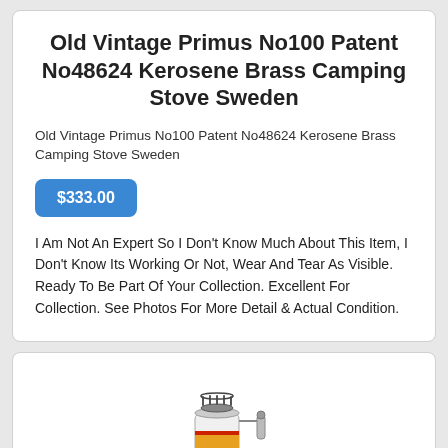Old Vintage Primus No100 Patent No48624 Kerosene Brass Camping Stove Sweden
Old Vintage Primus No100 Patent No48624 Kerosene Brass Camping Stove Sweden
$333.00
I Am Not An Expert So I Don't Know Much About This Item, I Don't Know Its Working Or Not, Wear And Tear As Visible. Ready To Be Part Of Your Collection. Excellent For Collection. See Photos For More Detail & Actual Condition.
[Figure (photo): Photo of a vintage Primus No100 kerosene brass camping stove on a white background]